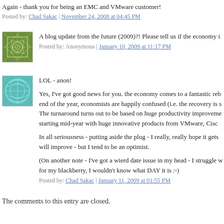Again - thank you for being an EMC and VMware customer!
Posted by: Chad Sakac | November 24, 2008 at 04:45 PM
A blog update from the future (2009)?! Please tell us if the economy i
Posted by: Anonymous | January 10, 2009 at 11:17 PM
LOL - anon!

Yes, I've got good news for you. the economy comes to a fantastic reb end of the year, economists are happily confused (i.e. the recovery is s The turnaround turns out to be based on huge productivity improveme starting mid-year with huge innovative products from VMware, Cisc

In all seriousness - putting aside the plug - I really, really hope it gets will improve - but I tend to be an optimist.

(On another note - I've got a wierd date issue in my head - I struggle w for my blackberry, I wouldn't know what DAY it is :-)
Posted by: Chad Sakac | January 11, 2009 at 01:55 PM
The comments to this entry are closed.